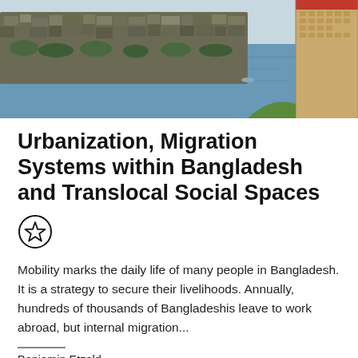[Figure (photo): Aerial photograph of a densely packed low-rise urban settlement on a riverbank in Bangladesh, with a large modern high-rise building visible in the upper right corner against a river and open water.]
Urbanization, Migration Systems within Bangladesh and Translocal Social Spaces
[Figure (other): Circular bookmark/favorite icon with a star outline inside a circle]
Mobility marks the daily life of many people in Bangladesh. It is a strategy to secure their livelihoods. Annually, hundreds of thousands of Bangladeshis leave to work abroad, but internal migration...
Benjamin Etzold
30.11.2015 / 1 Minute read